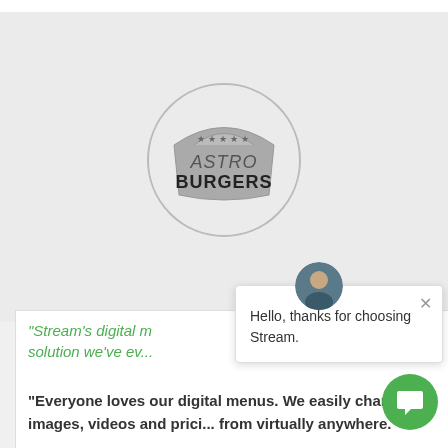[Figure (logo): Astro Burgers logo inside a circle: a grey burger-stand sign shape with stars and text 'ASTRO BURGERS']
"Stream's digital m... solution we've ev...
Hello, thanks for choosing Stream.
"Everyone loves our digital menus. We easily change images, videos and prici... from virtually anywhere.